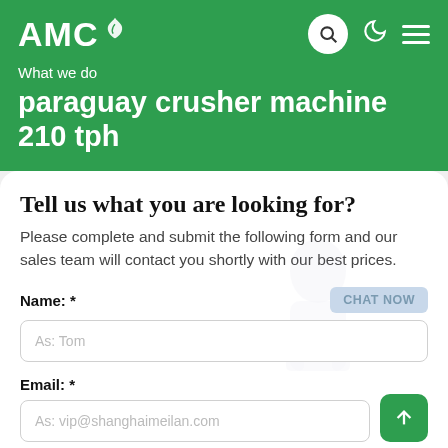AMC
What we do
paraguay crusher machine 210 tph
Tell us what you are looking for?
Please complete and submit the following form and our sales team will contact you shortly with our best prices.
Name: *
As: Tom
Email: *
As: vip@shanghaimeilan.com
Phone: *
With Country Code